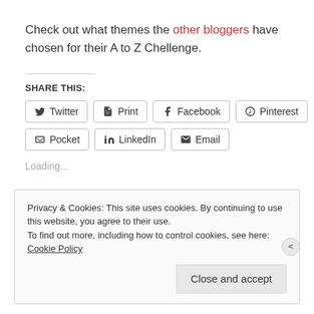Check out what themes the other bloggers have chosen for their A to Z Chellenge.
SHARE THIS:
Twitter | Print | Facebook | Pinterest | Pocket | LinkedIn | Email
Loading...
Privacy & Cookies: This site uses cookies. By continuing to use this website, you agree to their use. To find out more, including how to control cookies, see here: Cookie Policy
Close and accept